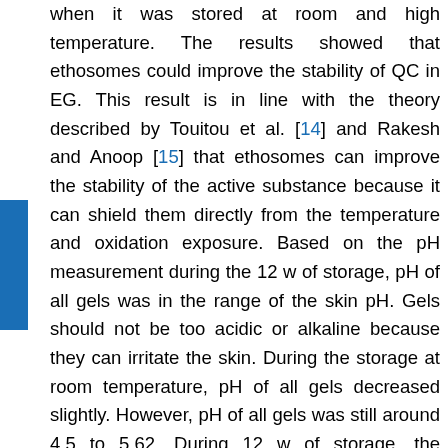when it was stored at room and high temperature. The results showed that ethosomes could improve the stability of QC in EG. This result is in line with the theory described by Touitou et al. [14] and Rakesh and Anoop [15] that ethosomes can improve the stability of the active substance because it can shield them directly from the temperature and oxidation exposure. Based on the pH measurement during the 12 w of storage, pH of all gels was in the range of the skin pH. Gels should not be too acidic or alkaline because they can irritate the skin. During the storage at room temperature, pH of all gels decreased slightly. However, pH of all gels was still around 4.5 to 5.62. During 12 w of storage, the viscosity of both gels declined. They were 1.47 % for EG and 1.69 % for NEG as seen in Figure 3. The decrease in